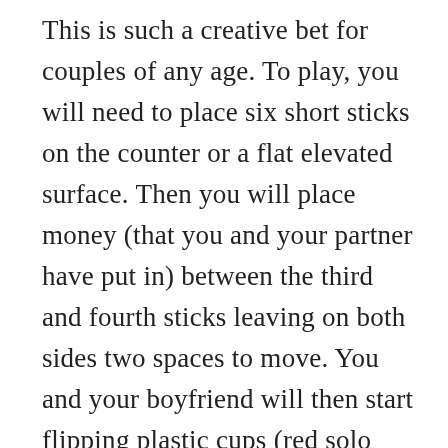This is such a creative bet for couples of any age. To play, you will need to place six short sticks on the counter or a flat elevated surface. Then you will place money (that you and your partner have put in) between the third and fourth sticks leaving on both sides two spaces to move. You and your boyfriend will then start flipping plastic cups (red solo cups are preferred but you may use any plastic cup of your choosing). When you flip your cup and it lands upright, you will move the money one space towards your direction – the person who flips the cup upright the most and moves the most spaces wins the money when it gets to their end of the stick. This is an interesting bet to make because it is fast-paced and requires a fast handi-coordination.